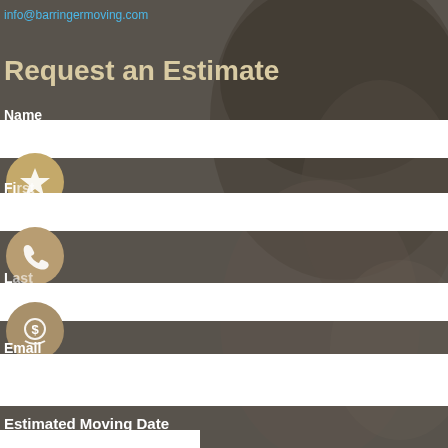info@barringermoving.com
Request an Estimate
Name
[Figure (illustration): Gold/tan circle with star icon]
First
[Figure (illustration): Tan circle with phone handset icon]
Last
[Figure (illustration): Tan circle with dollar speech bubble icon]
Email
Estimated Moving Date